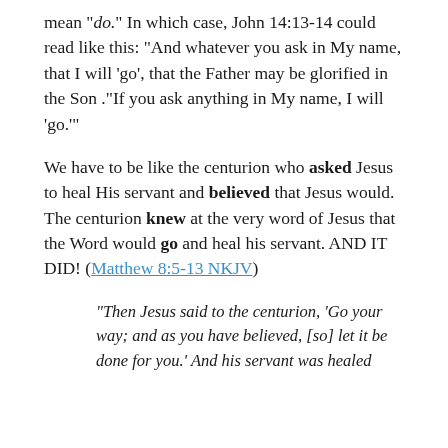mean "do." In which case, John 14:13-14 could read like this:  "And whatever you ask in My name, that I will 'go', that the Father may be glorified in the Son ."If you ask anything in My name, I will 'go.'"
We have to be like the centurion who asked Jesus to heal His servant and believed that Jesus would.  The centurion knew at the very word of Jesus that the Word would go and heal his servant.  AND IT DID!  (Matthew 8:5-13 NKJV)
"Then Jesus said to the centurion, 'Go your way; and as you have believed, [so] let it be done for you.' And his servant was healed that same hour." (Matthew 8:13 NKJV)